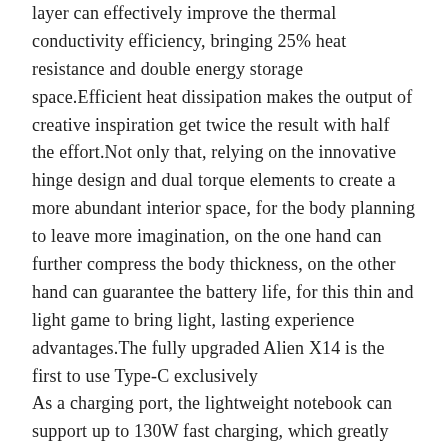layer can effectively improve the thermal conductivity efficiency, bringing 25% heat resistance and double energy storage space.Efficient heat dissipation makes the output of creative inspiration get twice the result with half the effort.Not only that, relying on the innovative hinge design and dual torque elements to create a more abundant interior space, for the body planning to leave more imagination, on the one hand can further compress the body thickness, on the other hand can guarantee the battery life, for this thin and light game to bring light, lasting experience advantages.The fully upgraded Alien X14 is the first to use Type-C exclusively
As a charging port, the lightweight notebook can support up to 130W fast charging, which greatly alleviates the “anxiety of using the machine”. Moreover, with gallium nitride charger, the port change also liberates the shackles brought by the adapter.Not only that, but the ALIEN X14 can play video for up to 11 hours straight with an 80WHr